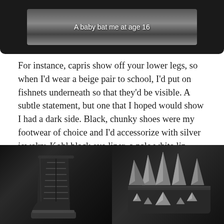[Figure (photo): Dark screenshot/image with text overlay reading 'A baby bat me at age 16' on a dark rounded rectangle bar at the top of the page]
A baby bat me at age 16
For instance, capris show off your lower legs, so when I'd wear a beige pair to school, I'd put on fishnets underneath so that they'd be visible. A subtle statement, but one that I hoped would show I had a dark side. Black, chunky shoes were my footwear of choice and I'd accessorize with silver jewelry. Kohl black eye liner, a pale white lip gloss and a braided hot pink hair piece were other things I'd use to express my spookier taste. At 16, my mother let me get my left eyebrow pierced, which I took as a major rite of passage.
[Figure (photo): Black and white photo of a tall black platform lace-up boot on a dark background]
[Figure (photo): Black and white close-up photo of a metal spiked bracelet/cuff with multiple cone-shaped spikes on a dark background]